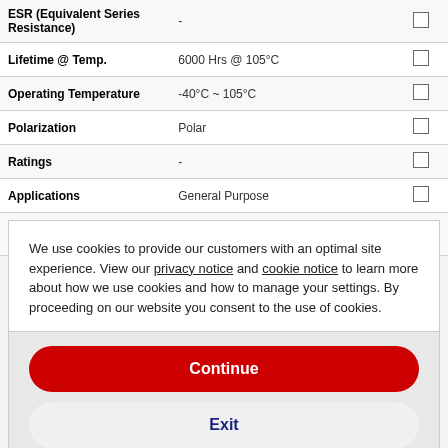| Property | Value |  |
| --- | --- | --- |
| ESR (Equivalent Series Resistance) | - |  |
| Lifetime @ Temp. | 6000 Hrs @ 105°C |  |
| Operating Temperature | -40°C ~ 105°C |  |
| Polarization | Polar |  |
| Ratings | - |  |
| Applications | General Purpose |  |
| Ripple Current @ Low Frequency | 609 mA @ 120 Hz |  |
We use cookies to provide our customers with an optimal site experience. View our privacy notice and cookie notice to learn more about how we use cookies and how to manage your settings. By proceeding on our website you consent to the use of cookies.
Continue
Exit
Privacy Notice